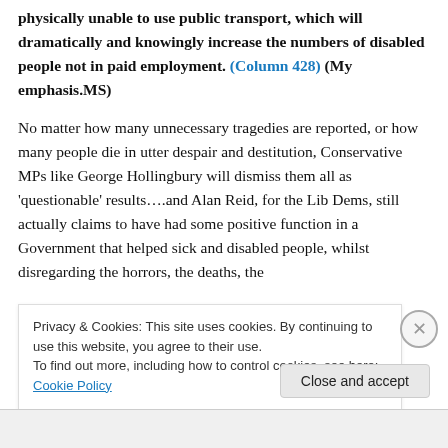physically unable to use public transport, which will dramatically and knowingly increase the numbers of disabled people not in paid employment. (Column 428) (My emphasis.MS)
No matter how many unnecessary tragedies are reported, or how many people die in utter despair and destitution, Conservative MPs like George Hollingbury will dismiss them all as 'questionable' results….and Alan Reid, for the Lib Dems, still actually claims to have had some positive function in a Government that helped sick and disabled people, whilst disregarding the horrors, the deaths, the
Privacy & Cookies: This site uses cookies. By continuing to use this website, you agree to their use.
To find out more, including how to control cookies, see here: Cookie Policy